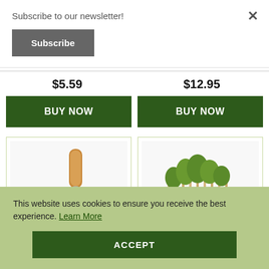Subscribe to our newsletter!
Subscribe
$5.59
$12.95
BUY NOW
BUY NOW
[Figure (photo): Claw cultivator garden tool with a wooden handle and metal claws against white background]
[Figure (photo): Crimson Clover Cover Crop seed packet with green and red clover illustration]
Claw Cultivator
Crimson Clover Cover Crop
This website uses cookies to ensure you receive the best experience. Learn More
ACCEPT